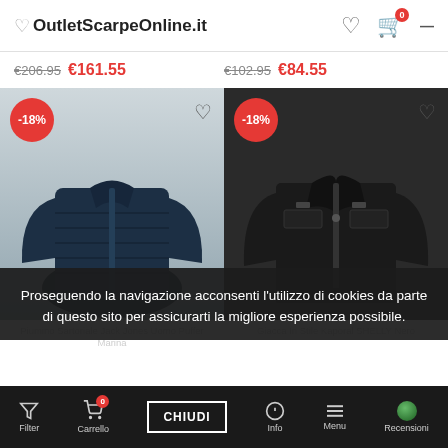OutletScarpeOnline.it
€206.95  €161.55   €102.95  €84.55
[Figure (photo): Navy blue quilted puffer jacket with -18% discount badge and wishlist heart icon]
[Figure (photo): Black leather biker jacket with -18% discount badge and wishlist heart icon]
Proseguendo la navigazione acconsenti l'utilizzo di cookies da parte di questo sito per assicurarti la migliore esperienza possibile.
Piumino Sartoriale Jack Jones Uomo Puffer Marina   Giacca In Stile Kaporal SHELLY Nero
Filter   Carrello   CHIUDI   Info   Menu   Recensioni